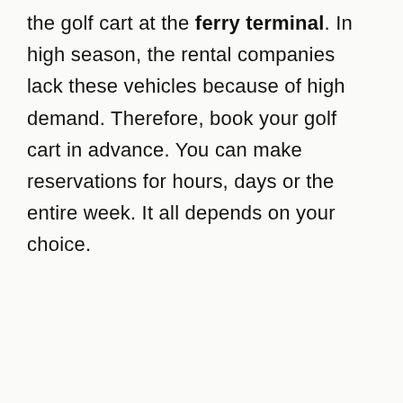the golf cart at the ferry terminal. In high season, the rental companies lack these vehicles because of high demand. Therefore, book your golf cart in advance. You can make reservations for hours, days or the entire week. It all depends on your choice.